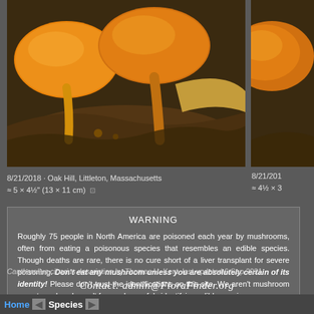[Figure (photo): Close-up photograph of orange chanterelle mushrooms (Cantharellus cibarius) on forest floor with leaves and debris. A side partial photo is also visible on the right.]
8/21/2018 · Oak Hill, Littleton, Massachusetts
≈ 5 × 4½" (13 × 11 cm)
8/21/2018
≈ 4½ × 3
WARNING

Roughly 75 people in North America are poisoned each year by mushrooms, often from eating a poisonous species that resembles an edible species. Though deaths are rare, there is no cure short of a liver transplant for severe poisoning. Don't eat any mushroom unless you are absolutely certain of its identity! Please don't trust the identifications on this site. We aren't mushroom experts and we haven't focused on safely identifying edible species.
Cantharellus cibarius description by Thomas H. Kent, last updated 6 Sep 2021.
Contact: admin@FloraFinder.org
© FloraFinder.org. All rights reserved.
Home  ◄  Species  ►